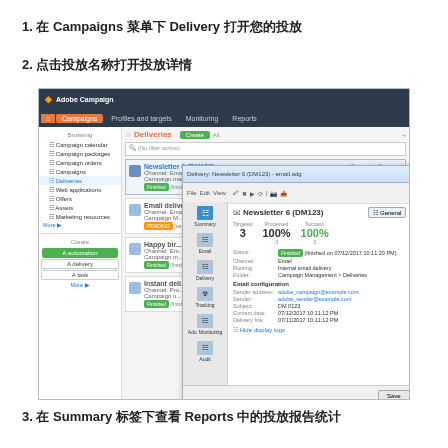1. 在 Campaigns 菜单下 Delivery 打开您的投放
2. 点击投放名称打开投放详情
[Figure (screenshot): Adobe Campaign interface screenshot showing the Deliveries list with Newsletter 6 (DM123) selected, and an overlay dialog showing the delivery summary with statistics: Targeted 3, Processed 100% (3), Success 100% (3). The dialog shows delivery details including status Finished, Channel Email, Routing Internal email delivery, Folder Campaign Management > Deliveries, and Email configuration fields.]
3. 在 Summary 标签下查看 Reports 中的投放报告统计